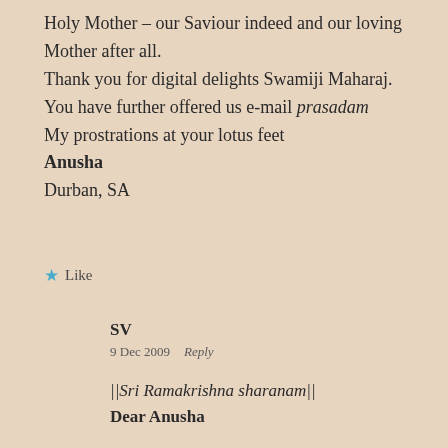Holy Mother – our Saviour indeed and our loving Mother after all.
Thank you for digital delights Swamiji Maharaj. You have further offered us e-mail prasadam
My prostrations at your lotus feet
Anusha
Durban, SA
Like
SV
9 Dec 2009   Reply
||Sri Ramakrishna sharanam||
Dear Anusha